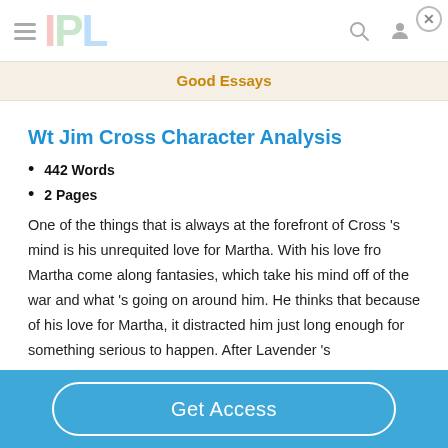IPL
Good Essays
Wt Jim Cross Character Analysis
442 Words
2 Pages
One of the things that is always at the forefront of Cross 's mind is his unrequited love for Martha. With his love fro Martha come along fantasies, which take his mind off of the war and what 's going on around him. He thinks that because of his love for Martha, it distracted him just long enough for something serious to happen. After Lavender 's
Get Access